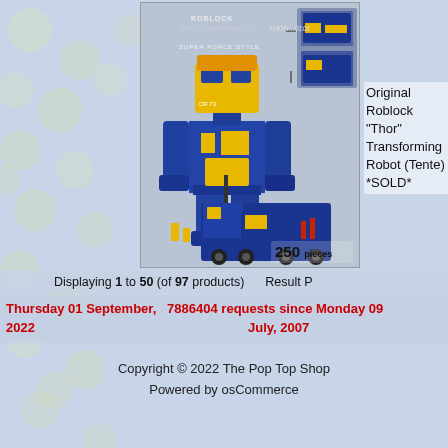[Figure (photo): Original Roblock Thor Transforming Robot toy product image showing blue and yellow robot with construction vehicles, 250 pieces, on product box artwork]
Original Roblock "Thor" Transforming Robot (Tente) *SOLD*
Displaying 1 to 50 (of 97 products)   Result P
Thursday 01 September, 2022   7886404 requests since Monday 09 July, 2007
Copyright © 2022 The Pop Top Shop
Powered by osCommerce